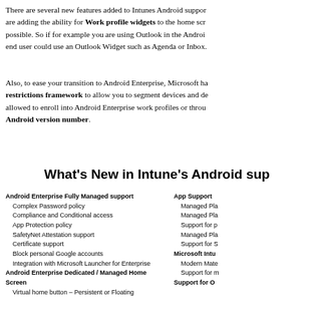There are several new features added to Intunes Android support are adding the ability for Work profile widgets to the home screen possible. So if for example you are using Outlook in the Android end user could use an Outlook Widget such as Agenda or Inbox.
Also, to ease your transition to Android Enterprise, Microsoft has restrictions framework to allow you to segment devices and devices allowed to enroll into Android Enterprise work profiles or through Android version number.
What's New in Intune's Android sup
Android Enterprise Fully Managed support
Complex Password policy
Compliance and Conditional access
App Protection policy
SafetyNet Attestation support
Certificate support
Block personal Google accounts
Integration with Microsoft Launcher for Enterprise
Android Enterprise Dedicated / Managed Home Screen
Virtual home button – Persistent or Floating
App Support
Managed Pla
Managed Pla
Support for p
Managed Pla
Support for S
Microsoft Intu
Modern Mate
Support for m
Support for O